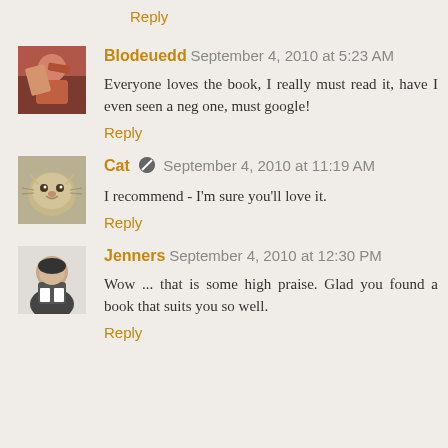Reply
Blodeuedd September 4, 2010 at 5:23 AM
Everyone loves the book, I really must read it, have I even seen a neg one, must google!
Reply
Cat September 4, 2010 at 11:19 AM
I recommend - I'm sure you'll love it.
Reply
Jenners September 4, 2010 at 12:30 PM
Wow ... that is some high praise. Glad you found a book that suits you so well.
Reply